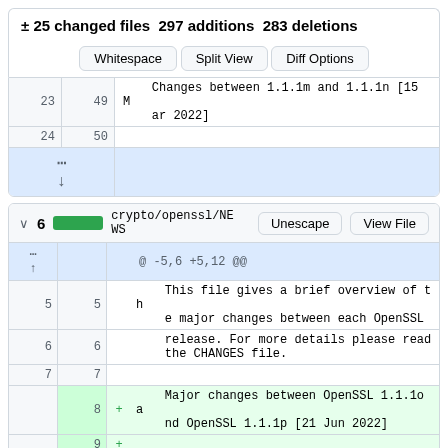± 25 changed files  297 additions  283 deletions
Whitespace  Split View  Diff Options
| old | new | content |
| --- | --- | --- |
| 23 | 49 | Changes between 1.1.1m and 1.1.1n [15 Mar 2022] |
| 24 | 50 |  |
|  |  | [expand icon] |
| chevron | count | bar | filename | buttons |
| --- | --- | --- | --- | --- |
| v | 6 | [green] | crypto/openssl/NEWS | Unescape  View File |
| old | new | + | content |
| --- | --- | --- | --- |
|  |  |  | @ -5,6 +5,12 @@ |
| 5 | 5 |  |     This file gives a brief overview of the major changes between each OpenSSL |
| 6 | 6 |  |     release. For more details please read the CHANGES file. |
| 7 | 7 |  |  |
|  | 8 | + |     Major changes between OpenSSL 1.1.1o and OpenSSL 1.1.1p [21 Jun 2022] |
|  | 9 | + |  |
|  | 10 | + |         o Fixed additional bugs in the c_r |